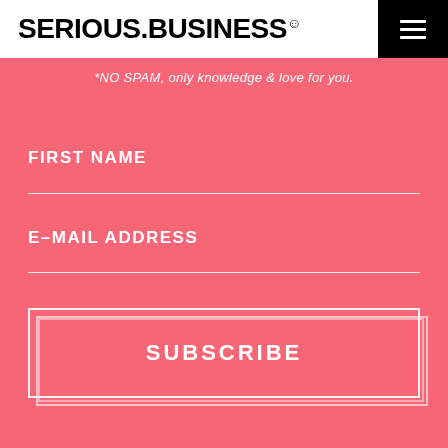SERIOUS.BUSINESS®
*NO SPAM, only knowledge & love for you.
FIRST NAME
E-MAIL ADDRESS
SUBSCRIBE